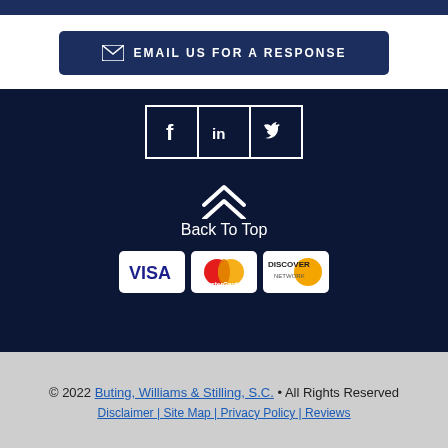[Figure (other): Dark navy top bar strip]
[Figure (other): Dark navy email button with envelope icon reading EMAIL US FOR A RESPONSE]
[Figure (other): Social media icons for Facebook, LinkedIn, and Twitter in white square boxes on dark navy background]
[Figure (other): Back To Top chevron arrow and text on dark navy background]
[Figure (other): Payment method logos: VISA, MasterCard, Discover Network on dark navy background]
© 2022 Buting, Williams & Stilling, S.C. • All Rights Reserved
Disclaimer | Site Map | Privacy Policy | Reviews